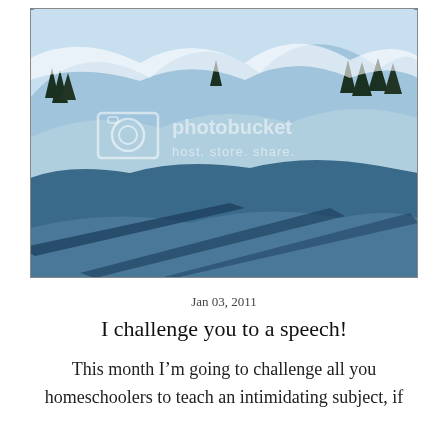[Figure (photo): Winter snow landscape with blue shadows and snow-covered pine trees on mountains, with Photobucket watermark overlay reading 'photobucket host. store. share.']
Jan 03, 2011
I challenge you to a speech!
This month I'm going to challenge all you homeschoolers to teach an intimidating subject, if